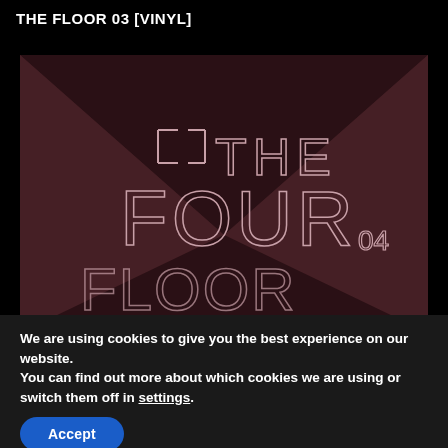THE FLOOR 03 [VINYL]
[Figure (photo): Album cover artwork showing 'THE FOUR 04' text in thin geometric/architectural style lettering on a dark reddish-brown background with triangular design elements.]
We are using cookies to give you the best experience on our website.
You can find out more about which cookies we are using or switch them off in settings.
Accept